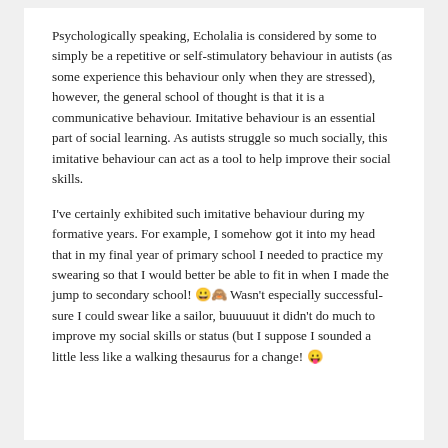Psychologically speaking, Echolalia is considered by some to simply be a repetitive or self-stimulatory behaviour in autists (as some experience this behaviour only when they are stressed), however, the general school of thought is that it is a communicative behaviour. Imitative behaviour is an essential part of social learning. As autists struggle so much socially, this imitative behaviour can act as a tool to help improve their social skills.
I've certainly exhibited such imitative behaviour during my formative years. For example, I somehow got it into my head that in my final year of primary school I needed to practice my swearing so that I would better be able to fit in when I made the jump to secondary school! 😀🙈 Wasn't especially successful- sure I could swear like a sailor, buuuuuut it didn't do much to improve my social skills or status (but I suppose I sounded a little less like a walking thesaurus for a change! 😛